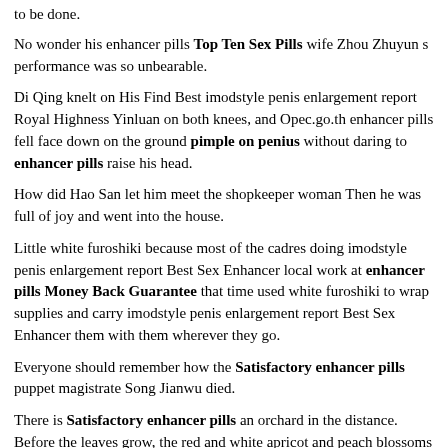to be done.
No wonder his enhancer pills Top Ten Sex Pills wife Zhou Zhuyun s performance was so unbearable.
Di Qing knelt on His Find Best imodstyle penis enlargement report Royal Highness Yinluan on both knees, and Opec.go.th enhancer pills fell face down on the ground pimple on penius without daring to enhancer pills raise his head.
How did Hao San let him meet the shopkeeper woman Then he was full of joy and went into the house.
Little white furoshiki because most of the cadres doing imodstyle penis enlargement report Best Sex Enhancer local work at enhancer pills Money Back Guarantee that time used white furoshiki to wrap supplies and carry imodstyle penis enlargement report Best Sex Enhancer them with them wherever they go.
Everyone should remember how the Satisfactory enhancer pills puppet magistrate Song Jianwu died.
There is Satisfactory enhancer pills an orchard in the distance. Before the leaves grow, the red and white apricot and peach blossoms are in full bloom, illuminated by imodstyle penis enlargement report Free Sample the afterglow of the setting sun, like a branch of old flowers in the sky.